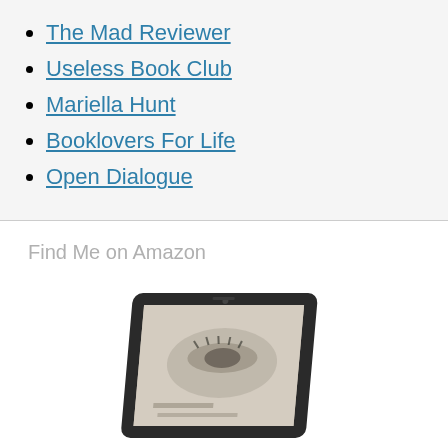The Mad Reviewer
Useless Book Club
Mariella Hunt
Booklovers For Life
Open Dialogue
Find Me on Amazon
[Figure (photo): A tablet device displaying a book cover with a close-up of a face/eye, shown at an angle]